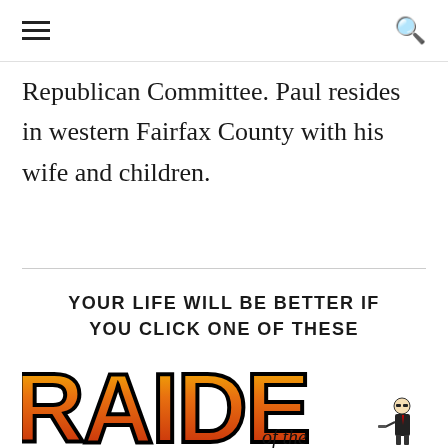☰  🔍
Republican Committee. Paul resides in western Fairfax County with his wife and children.
YOUR LIFE WILL BE BETTER IF YOU CLICK ONE OF THESE
[Figure (illustration): Partial view of a comic-book style 'Raiders' logo in red, orange, and yellow with bold black outlines, and the text 'of the' below, with a small illustrated figure of a man in a suit and sunglasses.]